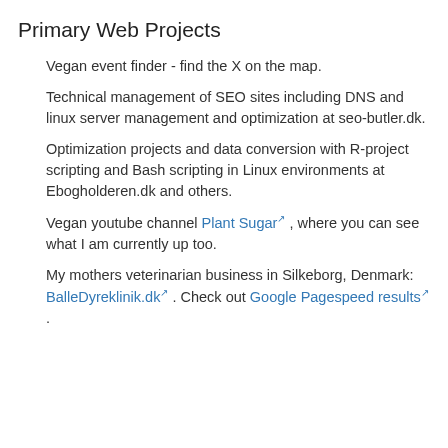Primary Web Projects
Vegan event finder - find the X on the map.
Technical management of SEO sites including DNS and linux server management and optimization at seo-butler.dk.
Optimization projects and data conversion with R-project scripting and Bash scripting in Linux environments at Ebogholderen.dk and others.
Vegan youtube channel Plant Sugar , where you can see what I am currently up too.
My mothers veterinarian business in Silkeborg, Denmark: BalleDyreklinik.dk . Check out Google Pagespeed results .